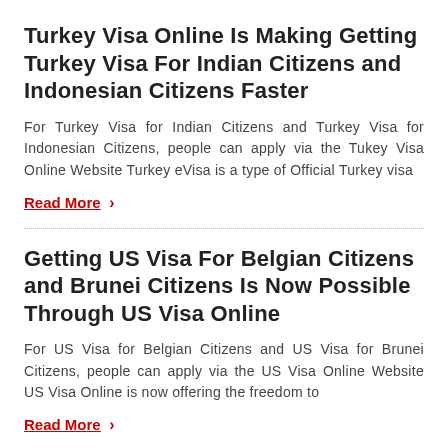Turkey Visa Online Is Making Getting Turkey Visa For Indian Citizens and Indonesian Citizens Faster
For Turkey Visa for Indian Citizens and Turkey Visa for Indonesian Citizens, people can apply via the Tukey Visa Online Website Turkey eVisa is a type of Official Turkey visa
Read More ›
Getting US Visa For Belgian Citizens and Brunei Citizens Is Now Possible Through US Visa Online
For US Visa for Belgian Citizens and US Visa for Brunei Citizens, people can apply via the US Visa Online Website US Visa Online is now offering the freedom to
Read More ›